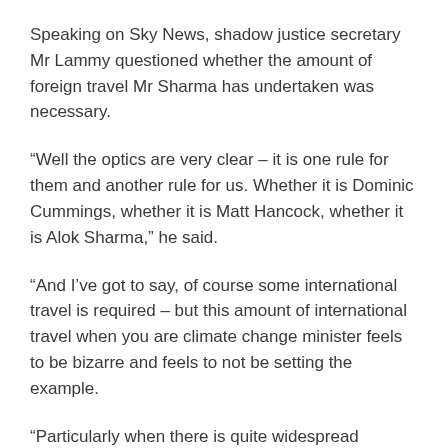Speaking on Sky News, shadow justice secretary Mr Lammy questioned whether the amount of foreign travel Mr Sharma has undertaken was necessary.
“Well the optics are very clear – it is one rule for them and another rule for us. Whether it is Dominic Cummings, whether it is Matt Hancock, whether it is Alok Sharma,” he said.
“And I’ve got to say, of course some international travel is required – but this amount of international travel when you are climate change minister feels to be bizarre and feels to not be setting the example.
“Particularly when there is quite widespread criticism of Britain’s response to COP – just 100 days to go.